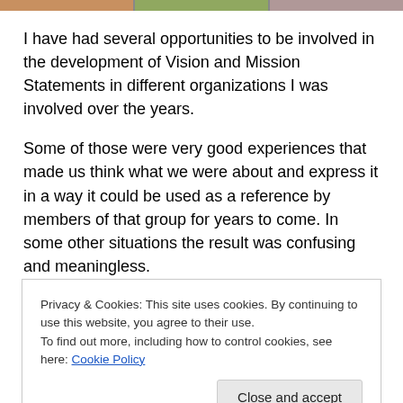[Figure (photo): Partial image strip showing three cropped photos at top of page]
I have had several opportunities to be involved in the development of Vision and Mission Statements in different organizations I was involved over the years.
Some of those were very good experiences that made us think what we were about and express it in a way it could be used as a reference by members of that group for years to come. In some other situations the result was confusing and meaningless.
Privacy & Cookies: This site uses cookies. By continuing to use this website, you agree to their use.
To find out more, including how to control cookies, see here: Cookie Policy
knows that yesterday is not today… and that today